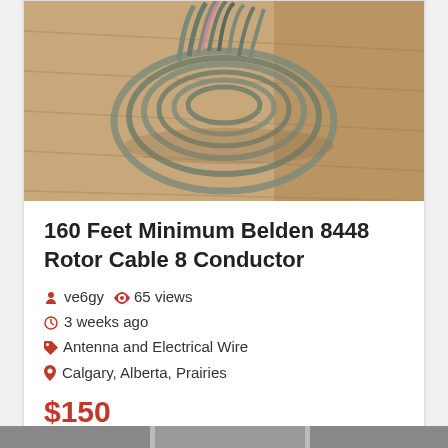[Figure (photo): Coiled gray multi-conductor cable (Belden 8448 rotor cable) lying on a wooden floor]
160 Feet Minimum Belden 8448 Rotor Cable 8 Conductor
ve6gy  65 views
3 weeks ago
Antenna and Electrical Wire
Calgary, Alberta, Prairies
$150